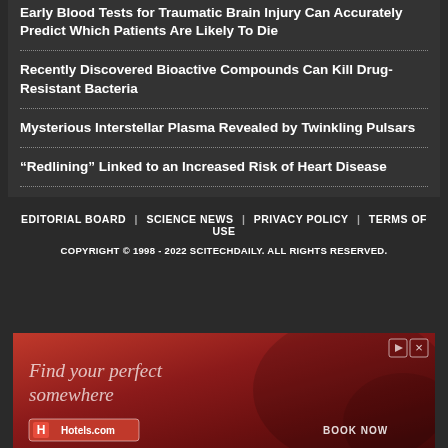Early Blood Tests for Traumatic Brain Injury Can Accurately Predict Which Patients Are Likely To Die
Recently Discovered Bioactive Compounds Can Kill Drug-Resistant Bacteria
Mysterious Interstellar Plasma Revealed by Twinkling Pulsars
“Redlining” Linked to an Increased Risk of Heart Disease
EDITORIAL BOARD | SCIENCE NEWS | PRIVACY POLICY | TERMS OF USE
COPYRIGHT © 1998 - 2022 SCITECHDAILY. ALL RIGHTS RESERVED.
[Figure (photo): Red advertisement banner for Hotels.com with text 'Find your perfect somewhere' and 'BOOK NOW' button]